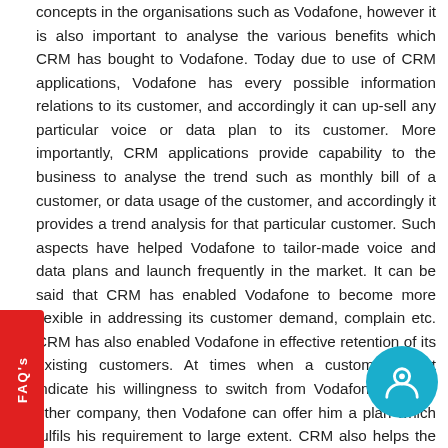concepts in the organisations such as Vodafone, however it is also important to analyse the various benefits which CRM has bought to Vodafone. Today due to use of CRM applications, Vodafone has every possible information relations to its customer, and accordingly it can up-sell any particular voice or data plan to its customer. More importantly, CRM applications provide capability to the business to analyse the trend such as monthly bill of a customer, or data usage of the customer, and accordingly it provides a trend analysis for that particular customer. Such aspects have helped Vodafone to tailor-made voice and data plans and launch frequently in the market. It can be said that CRM has enabled Vodafone to become more flexible in addressing its customer demand, complain etc. CRM has also enabled Vodafone in effective retention of its existing customers. At times when a customer might indicate his willingness to switch from Vodafone to any-other company, then Vodafone can offer him a plan which fulfils his requirement to large extent. CRM also helps the company to keep a check on customers who are loyal and have been associated with the company since long, and reward them